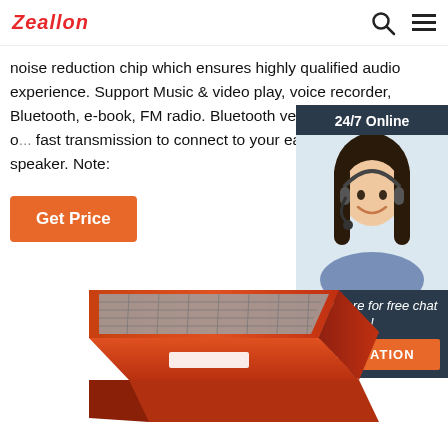Zeallon
noise reduction chip which ensures highly qualified audio experience. Support Music & video play, voice recorder, Bluetooth, e-book, FM radio. Bluetooth version 5.0 support of fast transmission to connect to your earphones, h... speaker. Note:
Get Price
[Figure (photo): Chat widget showing '24/7 Online' header, a customer service representative photo (woman with headset), 'Click here for free chat!' text, and an orange QUOTATION button on dark navy background]
[Figure (photo): Orange Bluetooth mini speaker product photo, square shape with gray mesh grille on top, viewed from a front-angle perspective]